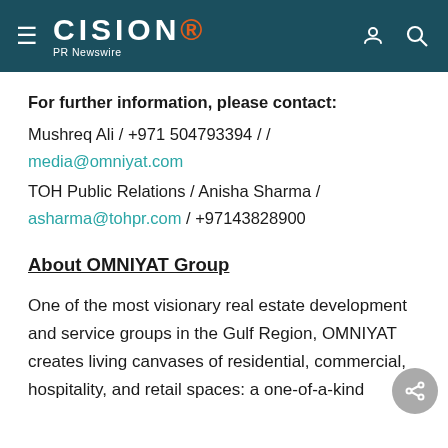CISION PR Newswire
For further information, please contact:
Mushreq Ali / +971 504793394 / /
media@omniyat.com
TOH Public Relations / Anisha Sharma /
asharma@tohpr.com / +97143828900
About OMNIYAT Group
One of the most visionary real estate development and service groups in the Gulf Region, OMNIYAT creates living canvases of residential, commercial, hospitality, and retail spaces: a one-of-a-kind